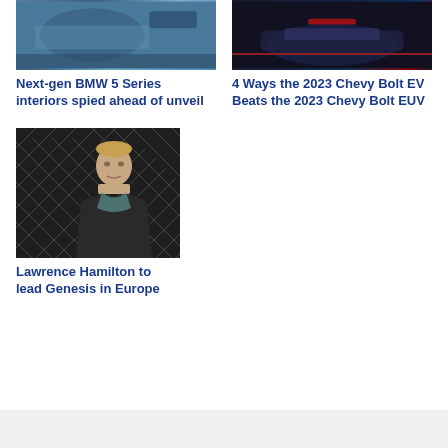[Figure (photo): BMW 5 Series interior spy photo showing dashboard and seats]
[Figure (photo): 2023 Chevy Bolt EV dark promotional photo with red lighting]
Next-gen BMW 5 Series interiors spied ahead of unveil
4 Ways the 2023 Chevy Bolt EV Beats the 2023 Chevy Bolt EUV
[Figure (photo): Lawrence Hamilton portrait photo in front of diamond mesh background]
Lawrence Hamilton to lead Genesis in Europe